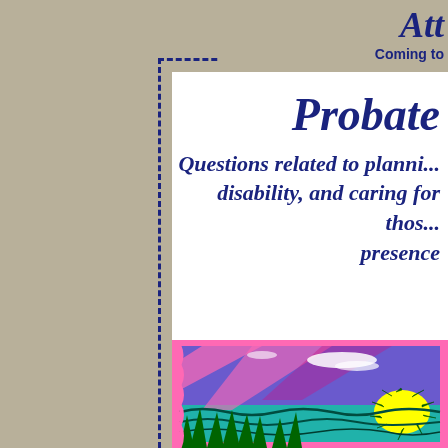Att... Coming to
Probate
Questions related to planning, disability, and caring for those... presence
[Figure (illustration): Colorful illustration of a sunset/sunrise scene over water with waves, sun with rays, and pink border frame.]